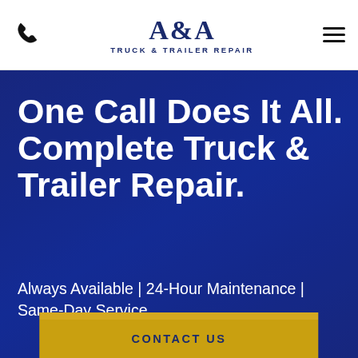A&A TRUCK & TRAILER REPAIR
One Call Does It All. Complete Truck & Trailer Repair.
Always Available | 24-Hour Maintenance | Same-Day Service
CONTACT US